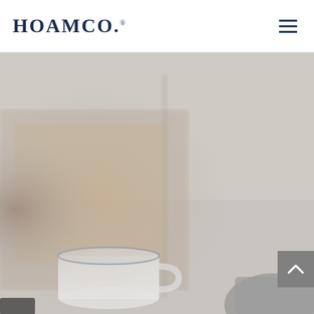HOAMCO.
[Figure (photo): Blurred interior scene showing a coffee mug and decorative objects on a surface with warm neutral tones, served as a hero background image]